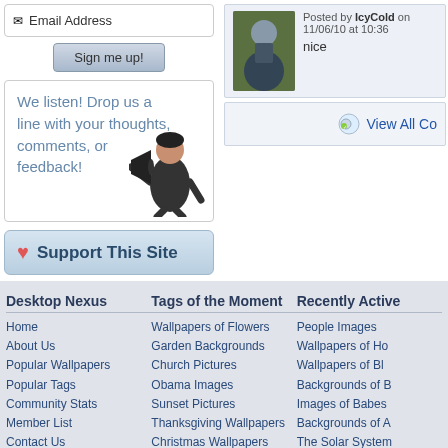Email Address
Sign me up!
We listen! Drop us a line with your thoughts, comments, or feedback!
Support This Site
Posted by IcyCold on 11/06/10 at 10:36
nice
View All Co
Desktop Nexus
Home
About Us
Popular Wallpapers
Popular Tags
Community Stats
Member List
Contact Us
Tags of the Moment
Wallpapers of Flowers
Garden Backgrounds
Church Pictures
Obama Images
Sunset Pictures
Thanksgiving Wallpapers
Christmas Wallpapers
Recently Active
People Images
Wallpapers of Ho
Wallpapers of Bl
Backgrounds of B
Images of Babes
Backgrounds of A
The Solar System
Privacy Policy | Terms of Service | Partnerships | DMCA Copyright Violation
© Desktop Nexus - All rights reserved.
Page rendered with 7 queries (and 0 cached) in 0.095 seconds from server -60.